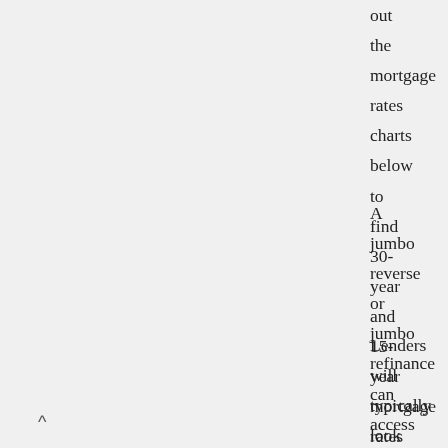out the mortgage rates charts below to find 30-year and 15-year mortgage rates for each of the different mortgage loans U.S. Bank offers. If you decide to purchase mortgage discount points at closing, your interest rate may be lower than the rates shown here.
A jumbo reverse or jumbo refinance can access up to $4 million in loan proceeds on a high-value home. Speak to a Home Equity Specialist (800) 224-9121.
Lenders will typically look for an even lower DTI for jumbo mortgages since the loans are so large. A conventional mortgage is one that's not connected in any way with the government, such as because.